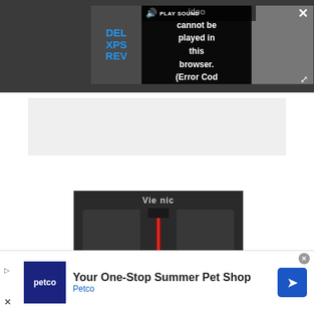[Figure (screenshot): Video player overlay on dark gray background showing a partially visible video thumbnail with 'DELL XPS REV' text on left, a black overlay in the center with error message 'Video cannot be played in this browser. (Error Cod', a 'tg' badge top-right, PLAY SOUND button, close X button top-right, and expand button bottom-right.]
[Figure (photo): Light gray advertisement placeholder area]
[Figure (photo): ViewSonic monitor rear view showing the back of a dark gaming monitor with ViewSonic branding, two wing-like side panels, and a red vertical accent on the center stand arm.]
[Figure (screenshot): Petco advertisement banner at the bottom: 'Your One-Stop Summer Pet Shop' with Petco logo on left and blue arrow icon on right.]